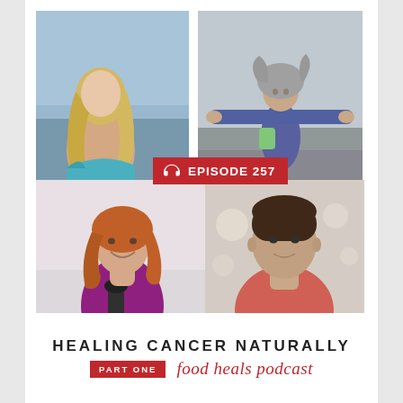[Figure (photo): Four-panel collage of podcast guests and host. Top-left: blonde woman near ocean/beach. Top-right: woman with arms outstretched outdoors. Bottom-left: woman with auburn hair holding a microphone. Bottom-right: young man in red/salmon shirt.]
EPISODE 257
HEALING CANCER NATURALLY
PART ONE
food heals podcast